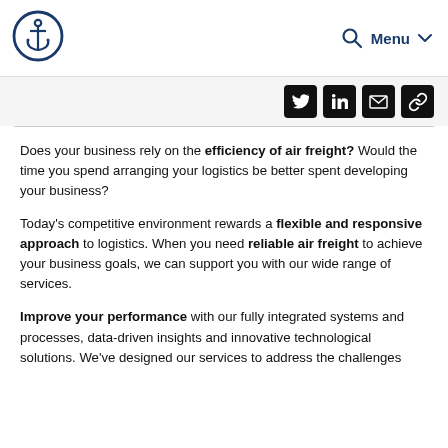Menu
[Figure (logo): Anchor inside a circle logo, dark navy blue]
[Figure (infographic): Social sharing icons row: Twitter, LinkedIn, Email, Link]
Does your business rely on the efficiency of air freight? Would the time you spend arranging your logistics be better spent developing your business?
Today's competitive environment rewards a flexible and responsive approach to logistics. When you need reliable air freight to achieve your business goals, we can support you with our wide range of services.
Improve your performance with our fully integrated systems and processes, data-driven insights and innovative technological solutions. We've designed our services to address the challenges